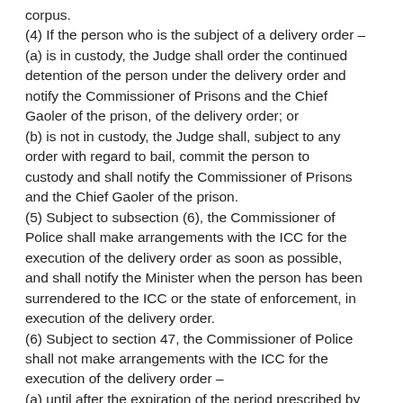corpus.
(4) If the person who is the subject of a delivery order – (a) is in custody, the Judge shall order the continued detention of the person under the delivery order and notify the Commissioner of Prisons and the Chief Gaoler of the prison, of the delivery order; or (b) is not in custody, the Judge shall, subject to any order with regard to bail, commit the person to custody and shall notify the Commissioner of Prisons and the Chief Gaoler of the prison.
(5) Subject to subsection (6), the Commissioner of Police shall make arrangements with the ICC for the execution of the delivery order as soon as possible, and shall notify the Minister when the person has been surrendered to the ICC or the state of enforcement, in execution of the delivery order.
(6) Subject to section 47, the Commissioner of Police shall not make arrangements with the ICC for the execution of the delivery order –
(a) until after the expiration of the period prescribed by law for making an application for habeas corpus by the person to whom the order relates; or